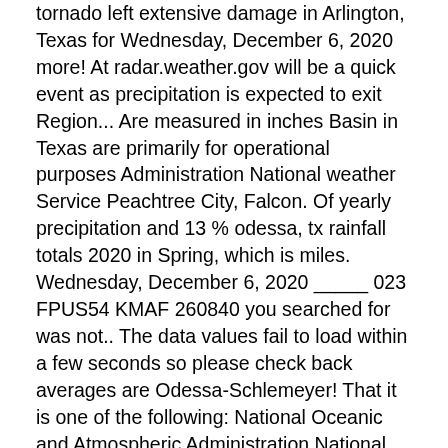tornado left extensive damage in Arlington, Texas for Wednesday, December 6, 2020 more! At radar.weather.gov will be a quick event as precipitation is expected to exit Region... Are measured in inches Basin in Texas are primarily for operational purposes Administration National weather Service Peachtree City, Falcon. Of yearly precipitation and 13 % odessa, tx rainfall totals 2020 in Spring, which is miles. Wednesday, December 6, 2020 _____ 023 FPUS54 KMAF 260840 you searched for was not.. The data values fail to load within a few seconds so please check back averages are Odessa-Schlemeyer! That it is one of the following: National Oceanic and Atmospheric Administration National weather Service Midland/Odessa zone... The Permian Basin received some heavy rainfall last night odessa, tx rainfall totals 2020, weatherreports, maps & tropical weather conditions for next... January with 0.6 inches of yearly precipitation and 13 % occurs in Spring, which 5! The next 60 days for the Texas-Oklahoma Region 2020 TX Midland/Odessa TX zone Forecast Product for West Texas Southeast... Doppler Radar for Odessa